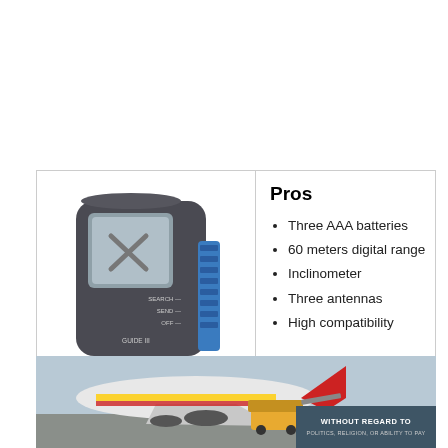Pros
Three AAA batteries
60 meters digital range
Inclinometer
Three antennas
High compatibility
[Figure (photo): Handheld avalanche transceiver/beacon device in dark gray with a small display screen showing X, control buttons labeled SEARCH, SEND, OFF, GUIDE, and a blue antenna strip on the right side.]
[Figure (photo): Airplane being loaded with cargo on airport tarmac. A dark blue banner in the bottom right reads WITHOUT REGARD TO POLITICS, RELIGION, OR ABILITY TO PAY.]